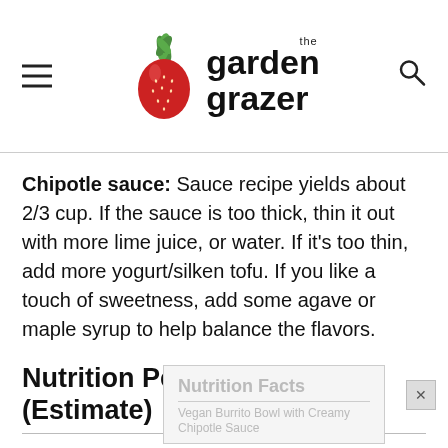the garden grazer
Chipotle sauce: Sauce recipe yields about 2/3 cup. If the sauce is too thick, thin it out with more lime juice, or water. If it's too thin, add more yogurt/silken tofu. If you like a touch of sweetness, add some agave or maple syrup to help balance the flavors.
Nutrition Per Serving (Estimate)
[Figure (other): Nutrition Facts label preview for Vegan Burrito Bowl with Creamy Chipotle Sauce, partially visible, greyed out background card.]